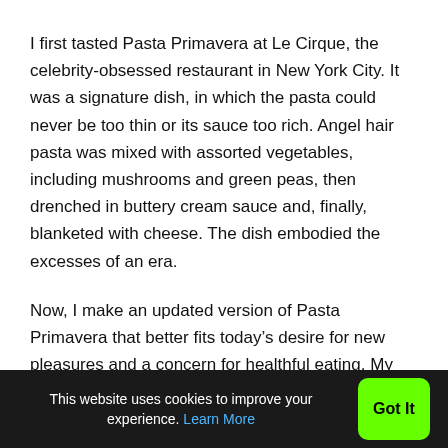I first tasted Pasta Primavera at Le Cirque, the celebrity-obsessed restaurant in New York City. It was a signature dish, in which the pasta could never be too thin or its sauce too rich. Angel hair pasta was mixed with assorted vegetables, including mushrooms and green peas, then drenched in buttery cream sauce and, finally, blanketed with cheese. The dish embodied the excesses of an era.
Now, I make an updated version of Pasta Primavera that better fits today's desire for new pleasures and a concern for healthful eating. My dish combines asparagus and baby green peas, two quintessential spring vegetables, with the bowtie pasta called farfalle, “butterflies” in Italian, and a touch of
This website uses cookies to improve your experience. Learn More  Got It